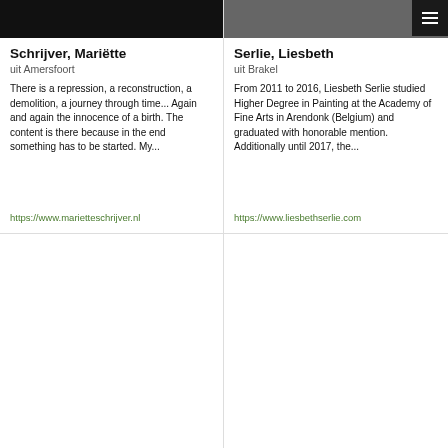[Figure (photo): Top photo for Schrijver, Mariëtte card - dark/black image]
Schrijver, Mariëtte
uit Amersfoort
There is a repression, a reconstruction, a demolition, a journey through time... Again and again the innocence of a birth. The content is there because in the end something has to be started. My...
https://www.marietteschrijver.nl
[Figure (photo): Top photo for Serlie, Liesbeth card - portrait photo]
Serlie, Liesbeth
uit Brakel
From 2011 to 2016, Liesbeth Serlie studied Higher Degree in Painting at the Academy of Fine Arts in Arendonk (Belgium) and graduated with honorable mention. Additionally until 2017, the...
https://www.liesbethserlie.com